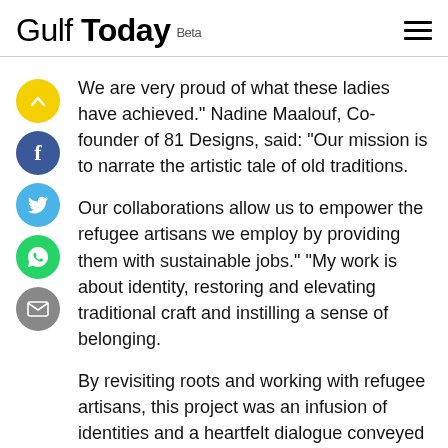Gulf Today Beta
We are very proud of what these ladies have achieved." Nadine Maalouf, Co-founder of 81 Designs, said: “Our mission is to narrate the artistic tale of old traditions.
Our collaborations allow us to empower the refugee artisans we employ by providing them with sustainable jobs.” “My work is about identity, restoring and elevating traditional craft and instilling a sense of belonging.
By revisiting roots and working with refugee artisans, this project was an infusion of identities and a heartfelt dialogue conveyed via craft, relaying messages of hope and freedom,